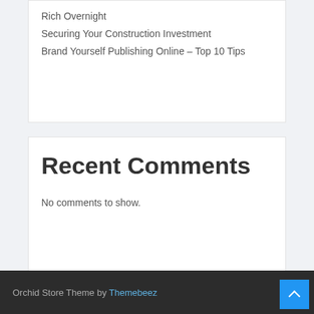Rich Overnight
Securing Your Construction Investment
Brand Yourself Publishing Online – Top 10 Tips
Recent Comments
No comments to show.
Orchid Store Theme by Themebeez